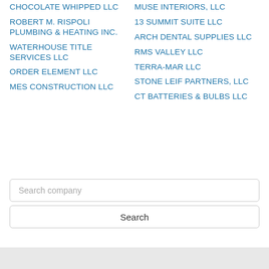CHOCOLATE WHIPPED LLC
ROBERT M. RISPOLI PLUMBING & HEATING INC.
WATERHOUSE TITLE SERVICES LLC
ORDER ELEMENT LLC
MES CONSTRUCTION LLC
MUSE INTERIORS, LLC
13 SUMMIT SUITE LLC
ARCH DENTAL SUPPLIES LLC
RMS VALLEY LLC
TERRA-MAR LLC
STONE LEIF PARTNERS, LLC
CT BATTERIES & BULBS LLC